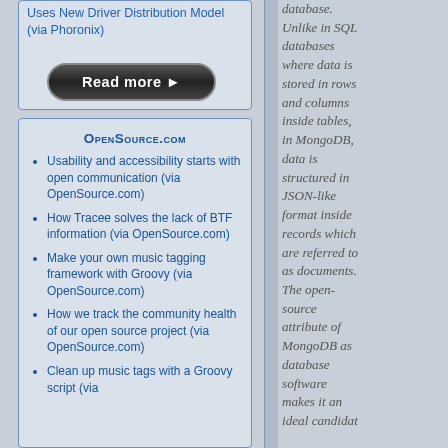Uses New Driver Distribution Model (via Phoronix)
[Figure (other): Read more button - dark rounded pill-shaped button with white bold text 'Read more ►']
OpenSource.com
Usability and accessibility starts with open communication (via OpenSource.com)
How Tracee solves the lack of BTF information (via OpenSource.com)
Make your own music tagging framework with Groovy (via OpenSource.com)
How we track the community health of our open source project (via OpenSource.com)
Clean up music tags with a Groovy script (via
database. Unlike in SQL databases where data is stored in rows and columns inside tables, in MongoDB, data is structured in JSON-like format inside records which are referred to as documents. The open-source attribute of MongoDB as database software makes it an ideal candida